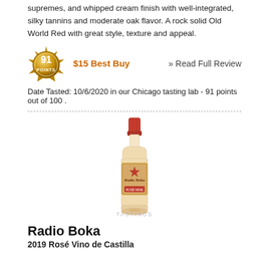supremes, and whipped cream finish with well-integrated, silky tannins and moderate oak flavor. A rock solid Old World Red with great style, texture and appeal.
[Figure (infographic): Gold medal badge showing '91 POINTS']
$15 Best Buy
» Read Full Review
Date Tasted: 10/6/2020 in our Chicago tasting lab - 91 points out of 100 .
[Figure (photo): Photo of a Radio Boka rosé wine bottle with red cap and decorative label]
Radio Boka
2019 Rosé Vino de Castilla